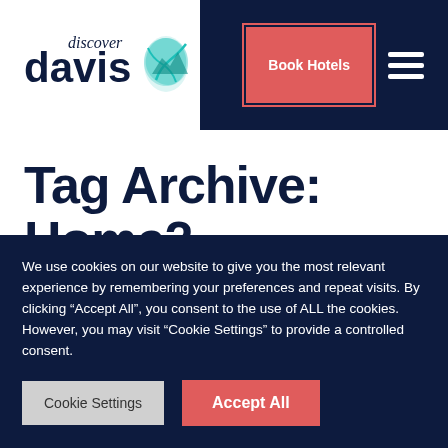[Figure (logo): Discover Davis logo with teal leaf/water wave icon and 'discover davis' text]
Book Hotels
Tag Archive: Home2 Suites Layton
Sorry, nothing to display.
We use cookies on our website to give you the most relevant experience by remembering your preferences and repeat visits. By clicking “Accept All”, you consent to the use of ALL the cookies. However, you may visit “Cookie Settings” to provide a controlled consent.
Cookie Settings
Accept All